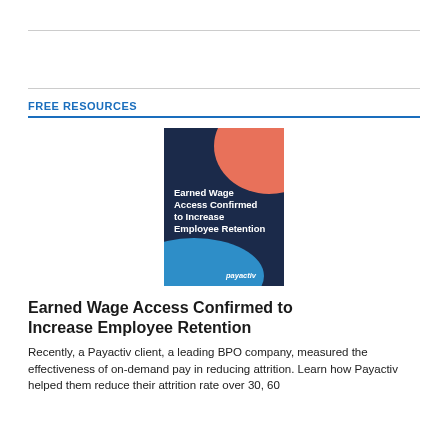FREE RESOURCES
[Figure (illustration): Book cover for 'Earned Wage Access Confirmed to Increase Employee Retention' by Payactiv — dark navy background with coral/salmon upper-right design element and blue swoosh at bottom, white text title, Payactiv logo at bottom right.]
Earned Wage Access Confirmed to Increase Employee Retention
Recently, a Payactiv client, a leading BPO company, measured the effectiveness of on-demand pay in reducing attrition. Learn how Payactiv helped them reduce their attrition rate over 30, 60